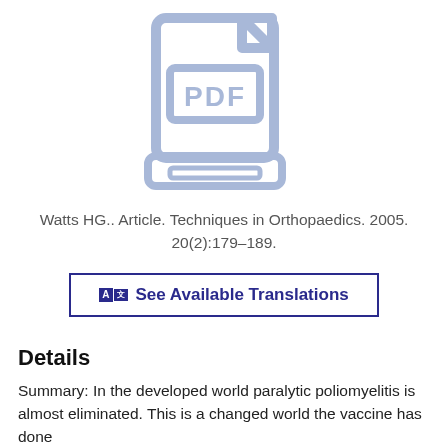[Figure (illustration): Light blue PDF file icon — a document with folded top-right corner, containing a rectangle with the text 'PDF', and a printer/tray component below]
Watts HG.. Article. Techniques in Orthopaedics. 2005. 20(2):179–189.
🔤 See Available Translations
Details
Summary: In the developed world paralytic poliomyelitis is almost eliminated. This is a changed world the vaccine has done